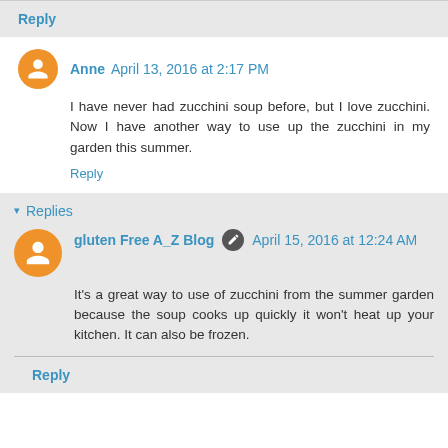Reply
Anne  April 13, 2016 at 2:17 PM
I have never had zucchini soup before, but I love zucchini. Now I have another way to use up the zucchini in my garden this summer.
Reply
▾ Replies
gluten Free A_Z Blog  April 15, 2016 at 12:24 AM
It's a great way to use of zucchini from the summer garden because the soup cooks up quickly it won't heat up your kitchen. It can also be frozen.
Reply